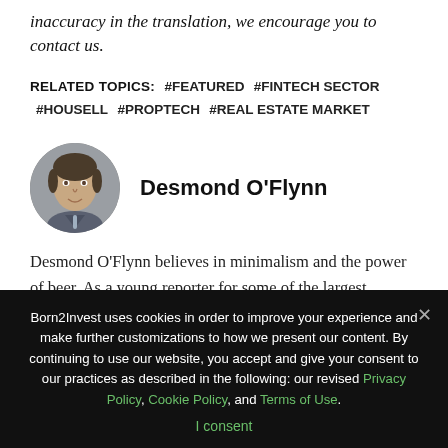inaccuracy in the translation, we encourage you to contact us.
RELATED TOPICS: #FEATURED #FINTECH SECTOR #HOUSELL #PROPTECH #REAL ESTATE MARKET
[Figure (photo): Circular portrait photo of author Desmond O'Flynn]
Desmond O'Flynn
Desmond O'Flynn believes in minimalism and the power of beer. As a young reporter for some of the largest national publications, he has lived in the world of finance and investing for nearly three decades. He has since included world politics and the global
Born2Invest uses cookies in order to improve your experience and make further customizations to how we present our content. By continuing to use our website, you accept and give your consent to our practices as described in the following: our revised Privacy Policy, Cookie Policy, and Terms of Use. I consent